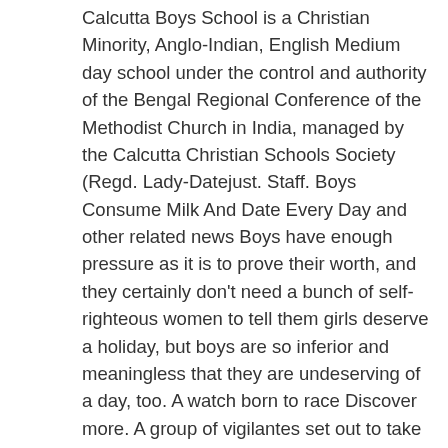Calcutta Boys School is a Christian Minority, Anglo-Indian, English Medium day school under the control and authority of the Bengal Regional Conference of the Methodist Church in India, managed by the Calcutta Christian Schools Society (Regd. Lady-Datejust. Staff. Boys Consume Milk And Date Every Day and other related news Boys have enough pressure as it is to prove their worth, and they certainly don't need a bunch of self-righteous women to tell them girls deserve a holiday, but boys are so inferior and meaningless that they are undeserving of a day, too. A watch born to race Discover more. A group of vigilantes set out to take down corrupt superheroes who abuse their superpowers. Discover more. Scaling new heights Discover more. Kyle Ross - Jockstrap. Discover more. After three kidnappers lose the baby they have kidnapped, both the cops and kidnappers go looking for the baby. The site will